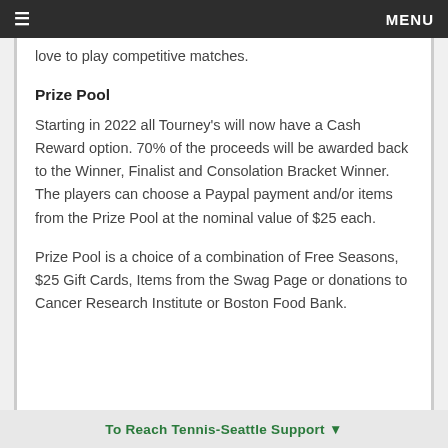≡  MENU
love to play competitive matches.
Prize Pool
Starting in 2022 all Tourney's will now have a Cash Reward option. 70% of the proceeds will be awarded back to the Winner, Finalist and Consolation Bracket Winner. The players can choose a Paypal payment and/or items from the Prize Pool at the nominal value of $25 each.
Prize Pool is a choice of a combination of Free Seasons, $25 Gift Cards, Items from the Swag Page or donations to Cancer Research Institute or Boston Food Bank.
To Reach Tennis-Seattle Support ▼